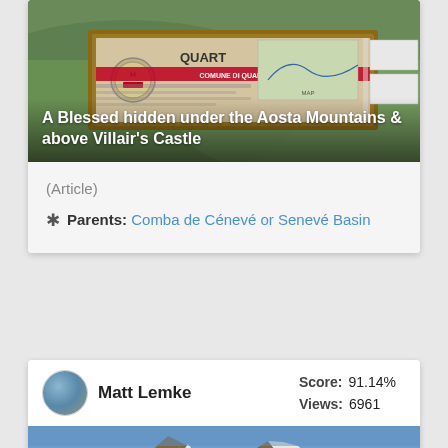[Figure (photo): Photo of a wooden signboard for QUART municipality with map and information panels, set against a background of green alpine valley.]
A Blessed hidden under the Aosta Mountains & above Villair's Castle
(Article)
Parents: Comba de Cénevé or Senevé Basin
Matt Lemke   Score: 91.14%   Views: 6961
[Figure (photo): Photo of a snow-capped mountain peak with glaciers under a blue sky.]